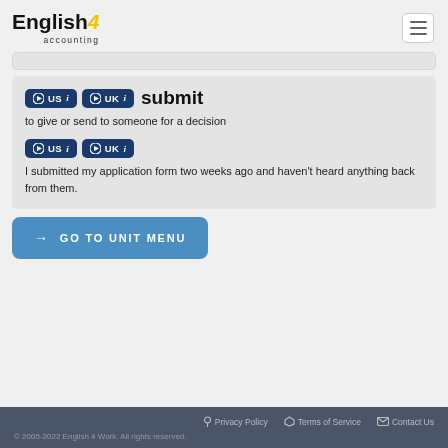English4 accounting
submit — to give or send to someone for a decision
I submitted my application form two weeks ago and haven't heard anything back from them.
GO TO UNIT MENU
Privacy Policy  Terms of Service  Contact Us  © 2005-2022 English 4 Work. All rights reserved.